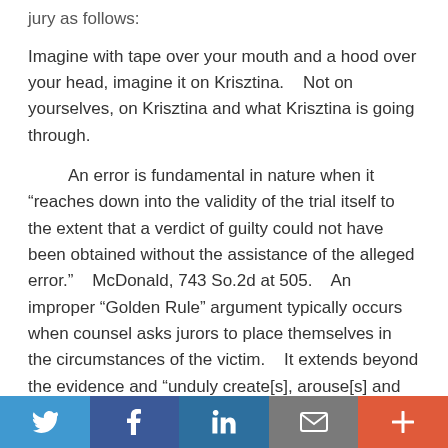jury as follows:
Imagine with tape over your mouth and a hood over your head, imagine it on Krisztina.    Not on yourselves, on Krisztina and what Krisztina is going through.
An error is fundamental in nature when it “reaches down into the validity of the trial itself to the extent that a verdict of guilty could not have been obtained without the assistance of the alleged error.”    McDonald, 743 So.2d at 505.    An improper “Golden Rule” argument typically occurs when counsel asks jurors to place themselves in the circumstances of the victim.    It extends beyond the evidence and “unduly create[s], arouse[s] and inflame[s] the sympathy, prejudice and passions of [the] jury to the detriment of the accused.”    Urbin v. State, 714 So.2d 411, 421 (Fla.1998) (quoting Barnes v. State, 58 So.2d 157, 159 (Fla.1951)).    The prosecutor unmistakably asked the jurors
[Figure (other): Social sharing bar with Twitter, Facebook, LinkedIn, email, and plus buttons]